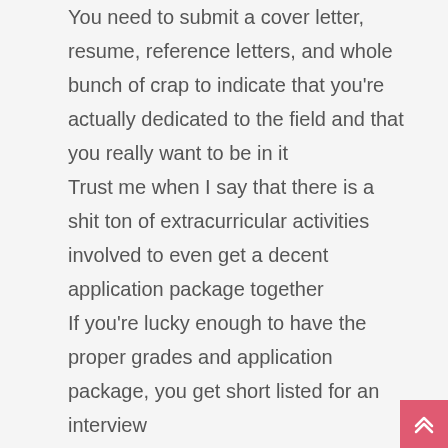You need to submit a cover letter, resume, reference letters, and whole bunch of crap to indicate that you're actually dedicated to the field and that you really want to be in it
Trust me when I say that there is a shit ton of extracurricular activities involved to even get a decent application package together
If you're lucky enough to have the proper grades and application package, you get short listed for an interview
You go through said interview and wait for the results
You only get to apply TWO TIMES and if you get rejected both times then TOO BAD SO SAD (and I already got rejected last year)